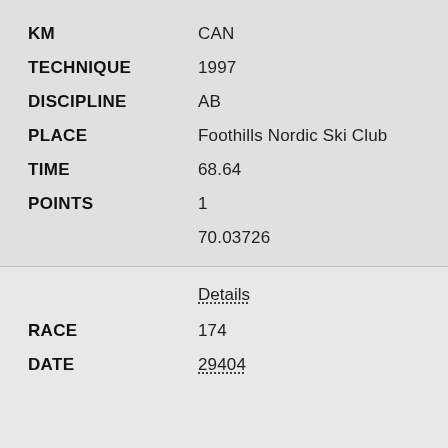| Field | Value |
| --- | --- |
| KM | CAN |
| TECHNIQUE | 1997 |
| DISCIPLINE | AB |
| PLACE | Foothills Nordic Ski Club |
| TIME | 68.64 |
| POINTS | 1 |
|  | 70.03726 |
Details
| Field | Value |
| --- | --- |
| RACE | 174 |
| DATE | 29404 |